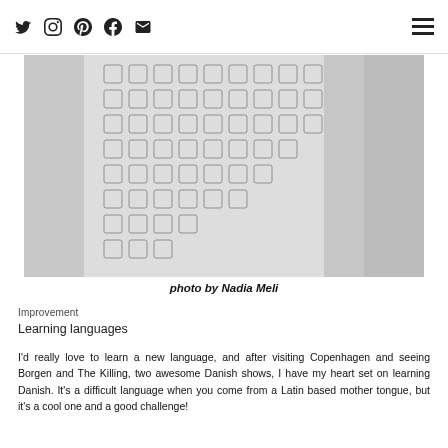Social icons: Twitter, Instagram, Pinterest, Facebook, Email; Hamburger menu
[Figure (photo): Black and white photo of a person wearing a patterned coat with intricate geometric/floral print, photographed from the side/back]
photo by Nadia Meli
Improvement
Learning languages
I'd really love to learn a new language, and after visiting Copenhagen and seeing Borgen and The Killing, two awesome Danish shows, I have my heart set on learning Danish. It's a difficult language when you come from a Latin based mother tongue, but it's a cool one and a good challenge!